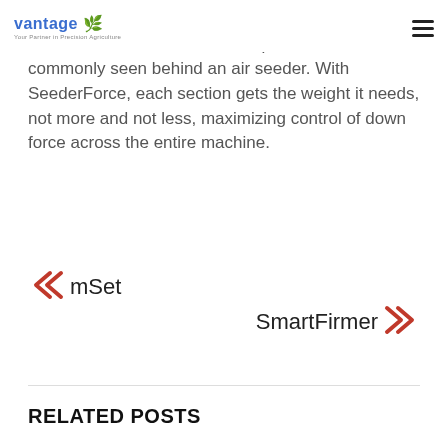vantage | Your Partner in Precision Agriculture [hamburger menu]
that excess weight will not be carried on the gauge which will eliminate root development issues commonly seen behind an air seeder. With SeederForce, each section gets the weight it needs, not more and not less, maximizing control of down force across the entire machine.
« mSet
SmartFirmer »
RELATED POSTS